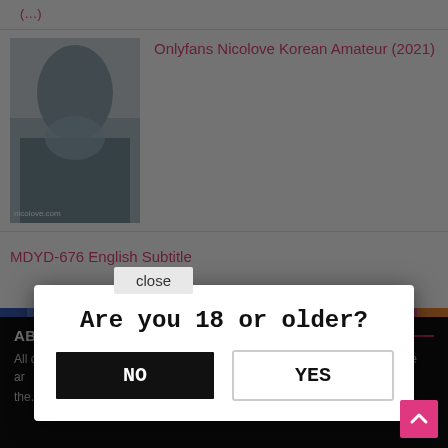Onlyfans Nicolove Korean Amateur (2021)
MDYD-676 English Subtitle
Daryl Son in law Coveting A Young Mother...
RBD-867 English Subtitle
ABOUT DOWNLOADJAV
All clips are ... hosted on this server ... ny country. © ... s on website ar... elong... the...
Are you 18 or older?
NO
YES